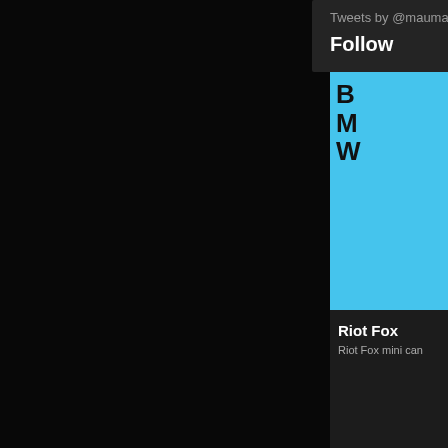[Figure (screenshot): Twitter widget showing 'Tweets by @maumauart' and 'Follow' button on dark background]
Tweets by @maumauart
Follow
[Figure (illustration): Dark tiled background pattern with skull/monster face icons arranged in a grid]
[Figure (illustration): Blue background image with cloud illustration and partially visible bold black text letters B, M, W]
Riot Fox
Riot Fox mini can